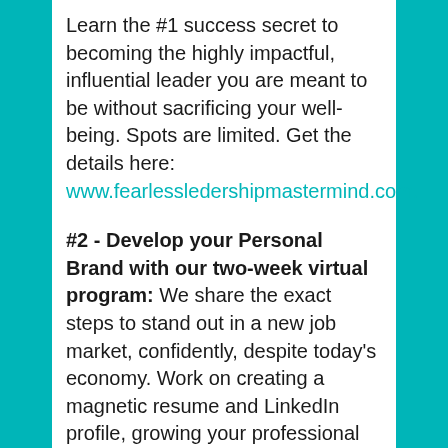Learn the #1 success secret to becoming the highly impactful, influential leader you are meant to be without sacrificing your well-being. Spots are limited. Get the details here: www.fearlessledershipmastermind.com.
#2 - Develop your Personal Brand with our two-week virtual program: We share the exact steps to stand out in a new job market, confidently, despite today's economy. Work on creating a magnetic resume and LinkedIn profile, growing your professional network, and preparing to increase your